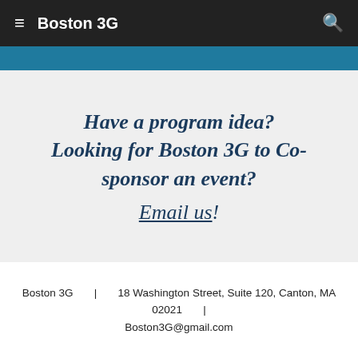Boston 3G
Have a program idea? Looking for Boston 3G to Co-sponsor an event? Email us!
Boston 3G  |  18 Washington Street, Suite 120, Canton, MA 02021  |  Boston3G@gmail.com